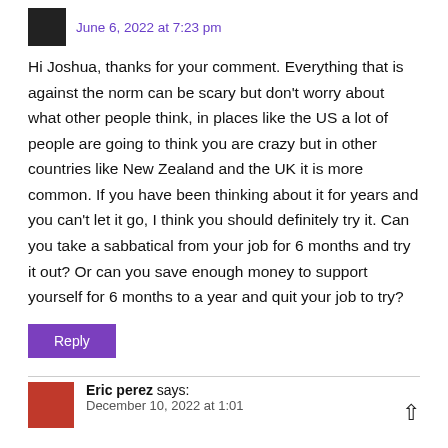June 6, 2022 at 7:23 pm
Hi Joshua, thanks for your comment. Everything that is against the norm can be scary but don't worry about what other people think, in places like the US a lot of people are going to think you are crazy but in other countries like New Zealand and the UK it is more common. If you have been thinking about it for years and you can't let it go, I think you should definitely try it. Can you take a sabbatical from your job for 6 months and try it out? Or can you save enough money to support yourself for 6 months to a year and quit your job to try?
Reply
Eric perez says:
December 10, 2022 at 1:01